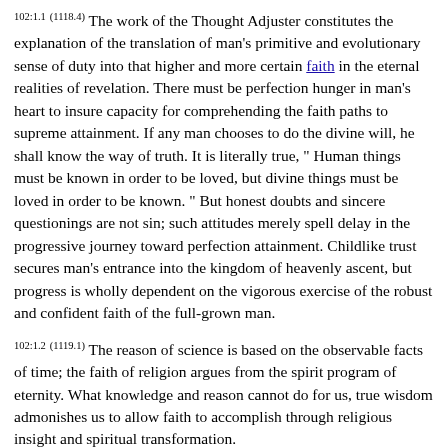102:1.1 (1118.4) The work of the Thought Adjuster constitutes the explanation of the translation of man's primitive and evolutionary sense of duty into that higher and more certain faith in the eternal realities of revelation. There must be perfection hunger in man's heart to insure capacity for comprehending the faith paths to supreme attainment. If any man chooses to do the divine will, he shall know the way of truth. It is literally true, " Human things must be known in order to be loved, but divine things must be loved in order to be known. " But honest doubts and sincere questionings are not sin; such attitudes merely spell delay in the progressive journey toward perfection attainment. Childlike trust secures man's entrance into the kingdom of heavenly ascent, but progress is wholly dependent on the vigorous exercise of the robust and confident faith of the full-grown man.
102:1.2 (1119.1) The reason of science is based on the observable facts of time; the faith of religion argues from the spirit program of eternity. What knowledge and reason cannot do for us, true wisdom admonishes us to allow faith to accomplish through religious insight and spiritual transformation.
102:1.3 (1119.2) Owing to the isolation of rebellion, the revelation of truth on Urantia has all too often been mixed up with the statements of partial and transient cosmologies. Truth remains unchanged from generation to generation, but the associated cosmology...